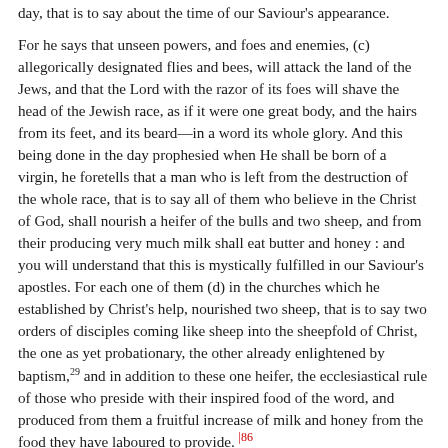day, that is to say about the time of our Saviour's appearance.
For he says that unseen powers, and foes and enemies, (c) allegorically designated flies and bees, will attack the land of the Jews, and that the Lord with the razor of its foes will shave the head of the Jewish race, as if it were one great body, and the hairs from its feet, and its beard—in a word its whole glory. And this being done in the day prophesied when He shall be born of a virgin, he foretells that a man who is left from the destruction of the whole race, that is to say all of them who believe in the Christ of God, shall nourish a heifer of the bulls and two sheep, and from their producing very much milk shall eat butter and honey : and you will understand that this is mystically fulfilled in our Saviour's apostles. For each one of them (d) in the churches which he established by Christ's help, nourished two sheep, that is to say two orders of disciples coming like sheep into the sheepfold of Christ, the one as yet probationary, the other already enlightened by baptism,29 and in addition to these one heifer, the ecclesiastical rule of those who preside with their inspired food of the word, and produced from them a fruitful increase of milk and honey from the food they have laboured to provide. |86
(72) That holy Scripture often likens the multitudes of less perfect disciples to sheep I need not say; every scripture teaches it. And its comparison of the perfect man, who being the leader works the